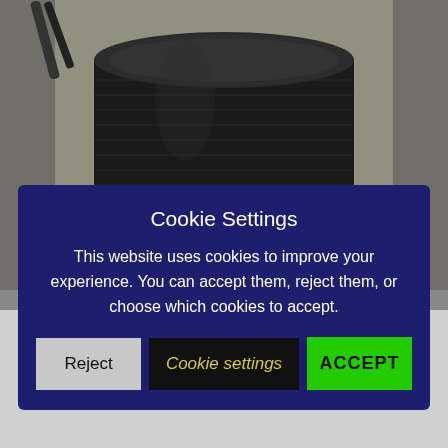[Figure (photo): Photograph of an Amazon Echo (Alexa) smart speaker device, black cylindrical with fabric mesh, with a cable plugged in, placed on a concrete/stone surface. The Amazon logo is visible on the device.]
Cookie Settings
This website uses cookies to improve your experience. You can accept them, reject them, or choose which cookies to accept.
Reject | Cookie settings | ACCEPT
someone is asking and help them with their request. This means that Alexa's computer program is able to train itself and get better at figuring out what people want to do by finding patterns in the millions of requests it gets.